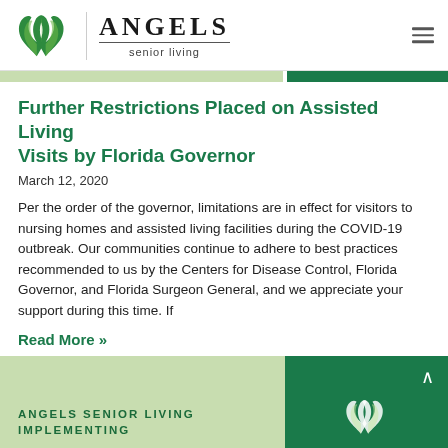[Figure (logo): Angels Senior Living logo with green wing leaves graphic, vertical divider, and brand name 'ANGELS senior living' in serif font]
Further Restrictions Placed on Assisted Living Visits by Florida Governor
March 12, 2020
Per the order of the governor, limitations are in effect for visitors to nursing homes and assisted living facilities during the COVID-19 outbreak. Our communities continue to adhere to best practices recommended to us by the Centers for Disease Control, Florida Governor, and Florida Surgeon General, and we appreciate your support during this time. If
Read More »
[Figure (other): Angels Senior Living footer banner with light green left section showing 'ANGELS SENIOR LIVING IMPLEMENTING' text and dark green right section with wing logo]